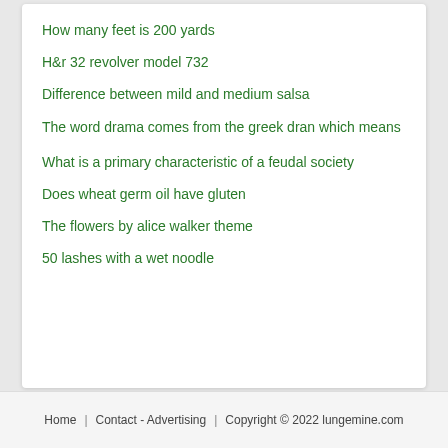How many feet is 200 yards
H&r 32 revolver model 732
Difference between mild and medium salsa
The word drama comes from the greek dran which means
What is a primary characteristic of a feudal society
Does wheat germ oil have gluten
The flowers by alice walker theme
50 lashes with a wet noodle
Home   Contact - Advertising   Copyright © 2022 lungemine.com